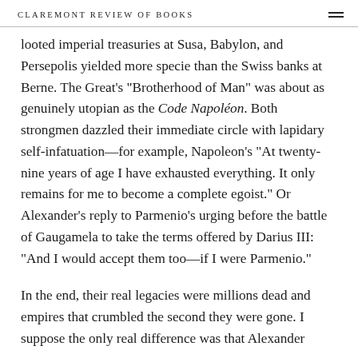CLAREMONT REVIEW OF BOOKS
looted imperial treasuries at Susa, Babylon, and Persepolis yielded more specie than the Swiss banks at Berne. The Great's "Brotherhood of Man" was about as genuinely utopian as the Code Napoléon. Both strongmen dazzled their immediate circle with lapidary self-infatuation—for example, Napoleon's "At twenty-nine years of age I have exhausted everything. It only remains for me to become a complete egoist." Or Alexander's reply to Parmenio's urging before the battle of Gaugamela to take the terms offered by Darius III: "And I would accept them too—if I were Parmenio."
In the end, their real legacies were millions dead and empires that crumbled the second they were gone. I suppose the only real difference was that Alexander